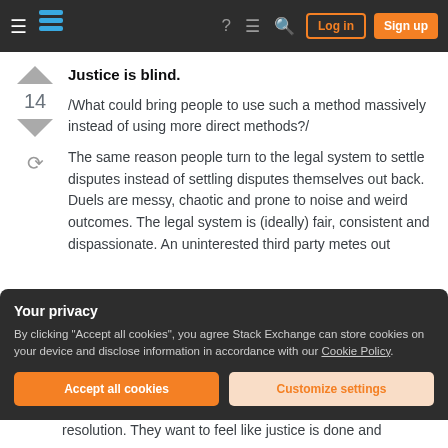Stack Exchange navigation bar with hamburger menu, logo, help, chat, search icons, Log in and Sign up buttons
Justice is blind.
/What could bring people to use such a method massively instead of using more direct methods?/
The same reason people turn to the legal system to settle disputes instead of settling disputes themselves out back. Duels are messy, chaotic and prone to noise and weird outcomes. The legal system is (ideally) fair, consistent and dispassionate. An uninterested third party metes out
Your privacy
By clicking "Accept all cookies", you agree Stack Exchange can store cookies on your device and disclose information in accordance with our Cookie Policy.
resolution. They want to feel like justice is done and